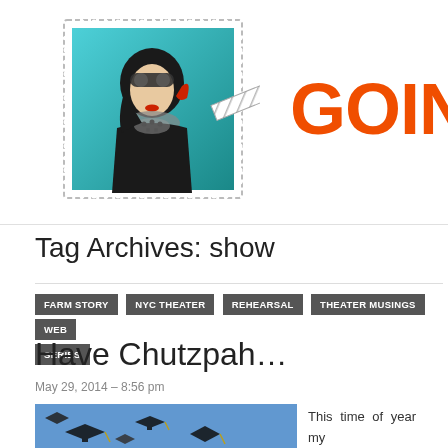[Figure (illustration): Logo: a postage stamp illustration of a woman in aviator helmet and goggles on a teal background, with a diagonal striped quill pen pointing right, next to large orange bold text reading GOING]
Tag Archives: show
FARM STORY  NYC THEATER  REHEARSAL  THEATER MUSINGS  WEB SERIES
Have Chutzpah…
May 29, 2014 – 8:56 pm
[Figure (photo): Photo of graduation caps being tossed in the air against a blue sky]
This time of year my